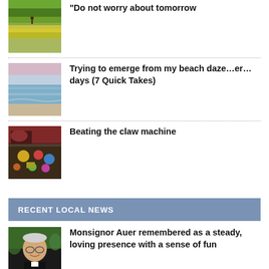Do not worry about tomorrow
[Figure (photo): Field of yellow wildflowers with a person walking in the distance]
[Figure (photo): Calm beach scene with pastel sky and gentle waves]
Trying to emerge from my beach daze…er… days (7 Quick Takes)
[Figure (photo): Close-up of a claw machine with toys and stuffed animals]
Beating the claw machine
RECENT LOCAL NEWS
[Figure (photo): Elderly man smiling, wearing glasses and dark clergy clothing, seated outdoors]
Monsignor Auer remembered as a steady, loving presence with a sense of fun